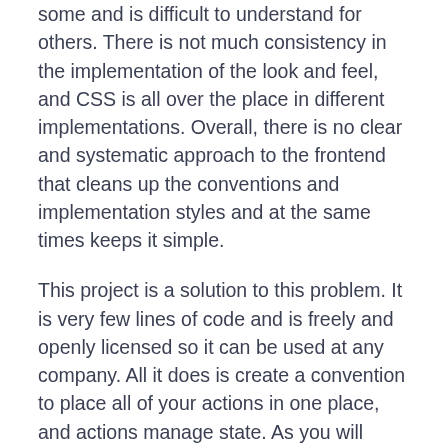some and is difficult to understand for others. There is not much consistency in the implementation of the look and feel, and CSS is all over the place in different implementations. Overall, there is no clear and systematic approach to the frontend that cleans up the conventions and implementation styles and at the same times keeps it simple.
This project is a solution to this problem. It is very few lines of code and is freely and openly licensed so it can be used at any company. All it does is create a convention to place all of your actions in one place, and actions manage state. As you will learn this solves the problem of managing vendor lockin, of testability of the code, of centralizing the knowledge base and of knowing where to find things. It is not an over-abstraction, it just treats everything as they are: as actions. All actions start at one state and end at another. If there are two main things in programming they are objects and actions. This project manages